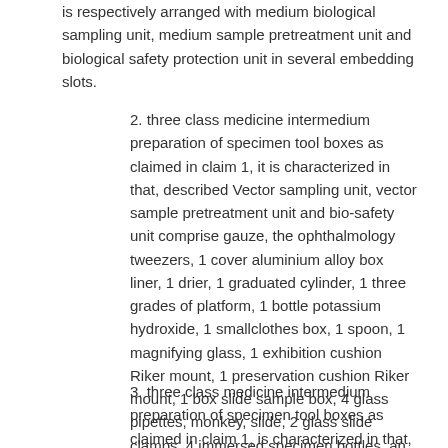is respectively arranged with medium biological sampling unit, medium sample pretreatment unit and biological safety protection unit in several embedding slots.
2. three class medicine intermedium preparation of specimen tool boxes as claimed in claim 1, it is characterized in that, described Vector sampling unit, vector sample pretreatment unit and bio-safety unit comprise gauze, the ophthalmology tweezers, 1 cover aluminium alloy box liner, 1 drier, 1 graduated cylinder, 1 three grades of platform, 1 bottle potassium hydroxide, 1 smallclothes box, 1 spoon, 1 magnifying glass, 1 exhibition cushion Riker mount, 1 preservation cushion Riker mount, 1 box slide sample box, 4 glass pipettes, monkey, slide, 2 glass slide clamps, 4 immersed specimen bottles, an immersed specimen cylinder, 1 medium size beaker, 2 vials that fill gummy use, 10 drop bottles, 1 bottle canada balsam, the gum Arabic of 1 bottle preparation, 1 cover aluminium alloy inner sleeve, spreading board, bamboo let, hold the pin tweezer.
3. three class medicine intermedium preparation of specimen tool boxes as claimed in claim 1, is characterized in that, is provided with plate and slash